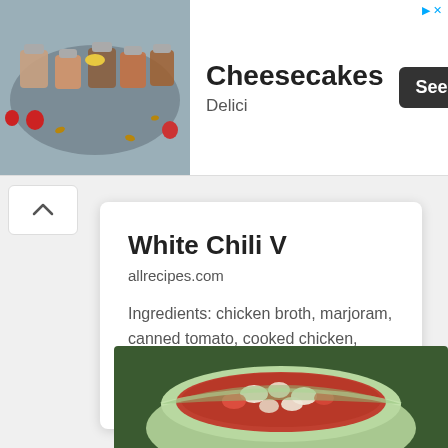[Figure (photo): Advertisement banner showing cheesecakes in jars with strawberries and nuts on a gray background]
Cheesecakes
Delici
[Figure (screenshot): See More button with dark background]
White Chili V
allrecipes.com
Ingredients: chicken broth, marjoram, canned tomato, cooked chicken, cumin, taco seasoning, white beans, oregano, garlic, chili pepper, cayenne
[Figure (photo): Photo of white chili soup in a light green bowl, showing chunks of chicken and beans in broth]